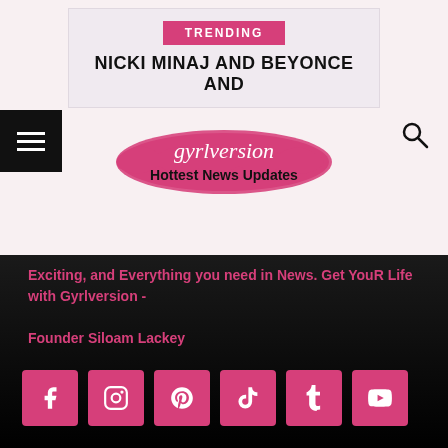TRENDING
NICKI MINAJ AND BEYONCE AND
[Figure (logo): Gyrlversion Hottest News Updates logo with pink brush stroke background]
Exciting, and Everything you need in News. Get YouR Life with Gyrlversion - Founder Siloam Lackey
[Figure (infographic): Row of 6 social media icon buttons (Facebook, Instagram, Pinterest, TikTok, Tumblr, YouTube) in pink/magenta color]